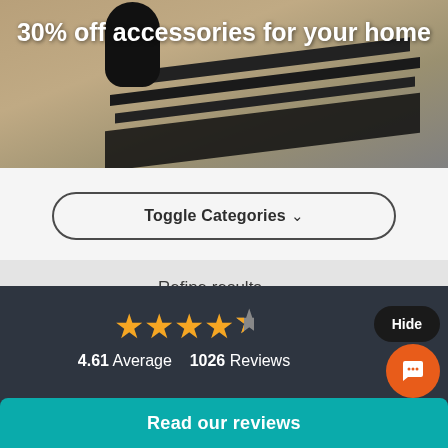[Figure (photo): Hero banner image showing a striped rug with a dark vase, with text '30% off accessories for your home' overlaid in white]
30% off accessories for your home
Toggle Categories ∨
Refine results ∨
[Figure (photo): Product image of a grey textured rug/mat]
4.61 Average   1026 Reviews
Hide
Read our reviews